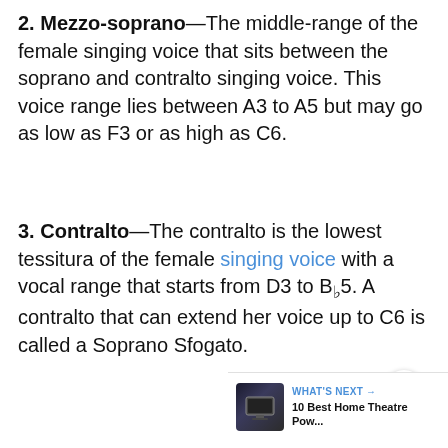2. Mezzo-soprano—The middle-range of the female singing voice that sits between the soprano and contralto singing voice. This voice range lies between A3 to A5 but may go as low as F3 or as high as C6.
3. Contralto—The contralto is the lowest tessitura of the female singing voice with a vocal range that starts from D3 to Bb5. A contralto that can extend her voice up to C6 is called a Soprano Sfogato.
[Figure (other): Share button icon (circular white button with share symbol)]
[Figure (other): What's Next widget showing thumbnail and text: 10 Best Home Theatre Pow...]